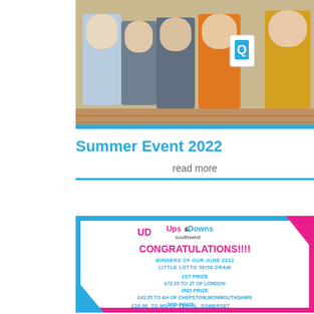[Figure (photo): Group of young people standing indoors, one holding a sign with a blue Q logo, on a wooden floor background]
Summer Event 2022
read more
[Figure (infographic): Ups and Downs Southwest congratulations lotto card. Winners of our June 2022 Little Lotto 50/50 Draw. 1st Prize £72.25 to JT of London. 2nd Prize £43.35 to AH of Chepstow, Monmouthshire. 3rd Prize £28.90, to MG of Yeovil, Somerset]